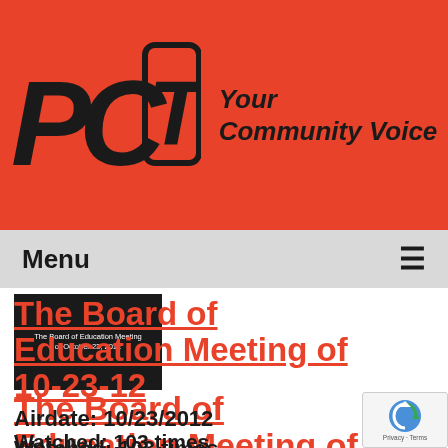[Figure (logo): PCTV logo with text 'Your Community Voice' on red background]
Menu
[Figure (screenshot): Thumbnail image of The Board of Education Meeting of October 23, 2012, black background with white text]
The Board of Education Meeting of 10-23-12
Airdate: 10/23/2012
Watched: 103 times